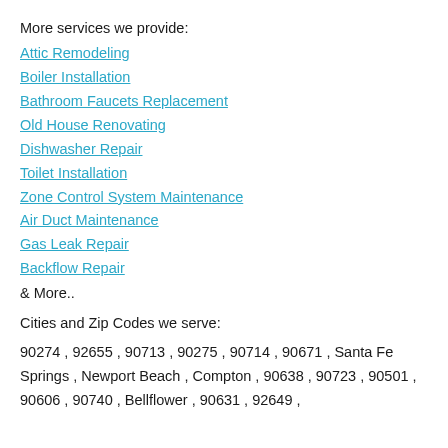More services we provide:
Attic Remodeling
Boiler Installation
Bathroom Faucets Replacement
Old House Renovating
Dishwasher Repair
Toilet Installation
Zone Control System Maintenance
Air Duct Maintenance
Gas Leak Repair
Backflow Repair
& More..
Cities and Zip Codes we serve:
90274 , 92655 , 90713 , 90275 , 90714 , 90671 , Santa Fe Springs , Newport Beach , Compton , 90638 , 90723 , 90501 , 90606 , 90740 , Bellflower , 90631 , 92649 ,